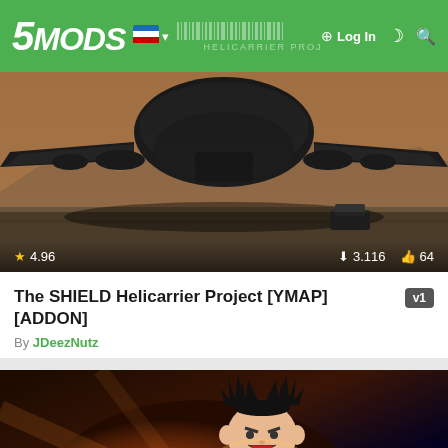5MODS — HELICARRIER PROJECT — Log In
[Figure (screenshot): Screenshot of the SHIELD Helicarrier from GTA V mod, a large dark aircraft viewed from below with wings spread, desert landscape visible below]
★ 4.96
⬇ 3.116  👍 64
The SHIELD Helicarrier Project [YMAP][ADDON]
v1
By JDeezNutz
[Figure (screenshot): Screenshot of an anime character (Goku from Dragon Ball) in fighting pose, glowing energy ball in hand, wearing orange gi, blurred orange/space background. HBO Max advertisement overlay visible at the bottom.]
★ 5.0
👍 12